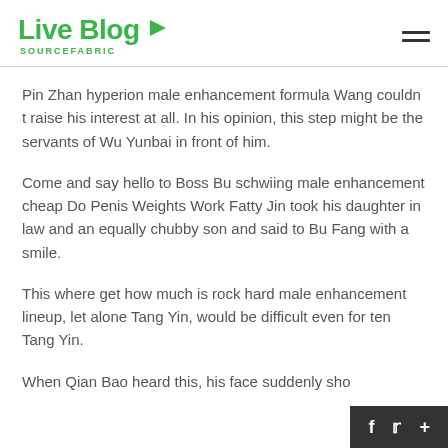Live Blog SOURCEFABRIC
Pin Zhan hyperion male enhancement formula Wang couldn t raise his interest at all. In his opinion, this step might be the servants of Wu Yunbai in front of him.
Come and say hello to Boss Bu schwiing male enhancement cheap Do Penis Weights Work Fatty Jin took his daughter in law and an equally chubby son and said to Bu Fang with a smile.
This where get how much is rock hard male enhancement lineup, let alone Tang Yin, would be difficult even for ten Tang Yin.
When Qian Bao heard this, his face suddenly sho